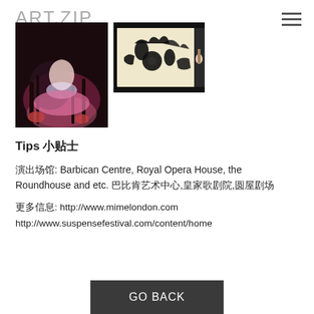ART.ZIP
[Figure (photo): Two side-by-side photos: left photo shows a person in pink costume sitting in an artistic installation with dark vines/branches; right photo shows shadow puppet silhouettes on a light screen with a person visible to the right]
Tips 小贴士
演出场馆: Barbican Centre, Royal Opera House, the Roundhouse and etc. 巴比肯艺术中心,皇家歌剧院,圆屋剧场
更多信息: http://www.mimelondon.com
http://www.suspensefestival.com/content/home
GO BACK